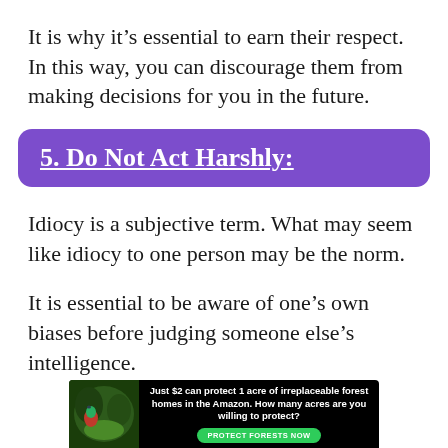It is why it’s essential to earn their respect. In this way, you can discourage them from making decisions for you in the future.
5. Do Not Act Harshly:
Idiocy is a subjective term. What may seem like idiocy to one person may be the norm.
It is essential to be aware of one’s own biases before judging someone else’s intelligence.
[Figure (infographic): Advertisement banner: forest/nature background image on left, white bold text reading 'Just $2 can protect 1 acre of irreplaceable forest homes in the Amazon. How many acres are you willing to protect?' with a green 'PROTECT FORESTS NOW' button.]